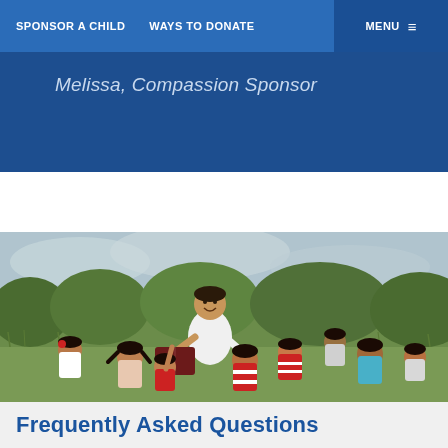SPONSOR A CHILD   WAYS TO DONATE   MENU
Melissa, Compassion Sponsor
[Figure (photo): A smiling young man reading a book to a group of children sitting in a grassy outdoor field. The children are of various ages, wearing casual and school clothes, some with red and white striped shirts. Green vegetation and cloudy sky visible in background.]
Frequently Asked Questions